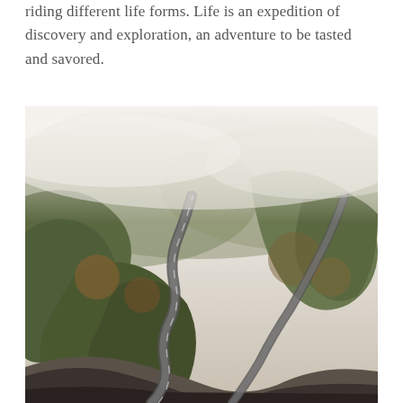riding different life forms. Life is an expedition of discovery and exploration, an adventure to be tasted and savored.
[Figure (photo): Aerial view of a winding road through a misty forested mountain landscape. The road snakes through dark green and autumn-colored trees with fog or low clouds obscuring the upper portion of the scene. The terrain is rugged with rocky areas visible in the foreground.]